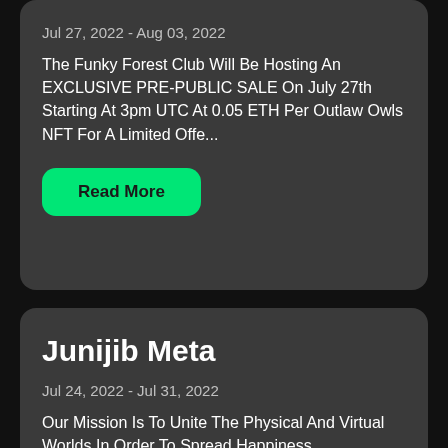Jul 27, 2022 - Aug 03, 2022
The Funky Forest Club Will Be Hosting An EXCLUSIVE PRE-PUBLIC SALE On July 27th Starting At 3pm UTC At 0.05 ETH Per Outlaw Owls NFT For A Limited Offe...
Read More
Junijib Meta
Jul 24, 2022 - Jul 31, 2022
Our Mission Is To Unite The Physical And Virtual Worlds In Order To Spread Happiness